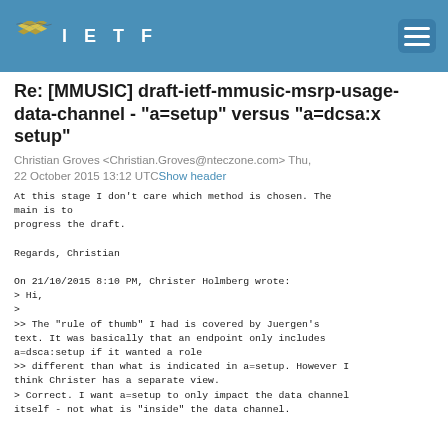IETF
Re: [MMUSIC] draft-ietf-mmusic-msrp-usage-data-channel - "a=setup" versus "a=dcsa:x setup"
Christian Groves <Christian.Groves@nteczone.com> Thu, 22 October 2015 13:12 UTC Show header
At this stage I don't care which method is chosen. The
main is to
progress the draft.

Regards, Christian

On 21/10/2015 8:10 PM, Christer Holmberg wrote:
> Hi,
>
>> The "rule of thumb" I had is covered by Juergen's
text. It was basically that an endpoint only includes
a=dsca:setup if it wanted a role
>> different than what is indicated in a=setup. However I
think Christer has a separate view.
> Correct. I want a=setup to only impact the data channel
itself - not what is "inside" the data channel.